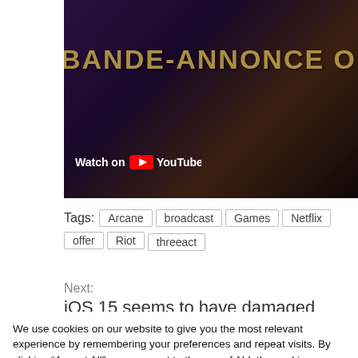[Figure (screenshot): YouTube video thumbnail showing 'BANDE-ANNONCE OFFI' text overlay with 'Watch on YouTube' button, dark purple/brown cinematic background]
Tags: Arcane broadcast Games Netflix offer Riot threeact
Next:
iOS 15 seems to have damaged Stadia's streaming
We use cookies on our website to give you the most relevant experience by remembering your preferences and repeat visits. By clicking “Accept All”, you consent to the use of ALL the cookies. However, you may visit "Cookie Settings" to provide a controlled consent.
Cookie Settings
Accept All